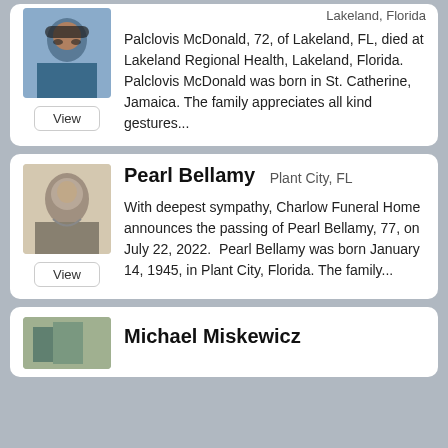Lakeland, Florida
[Figure (photo): Portrait photo of an older man wearing a cap and glasses, outdoors]
Palclovis McDonald, 72, of Lakeland, FL, died at Lakeland Regional Health, Lakeland, Florida. Palclovis McDonald was born in St. Catherine, Jamaica. The family appreciates all kind gestures...
Pearl Bellamy
Plant City, FL
[Figure (photo): Black and white portrait photo of an older woman]
With deepest sympathy, Charlow Funeral Home announces the passing of Pearl Bellamy, 77, on July 22, 2022.  Pearl Bellamy was born January 14, 1945, in Plant City, Florida. The family...
Michael Miskewicz
[Figure (photo): Partial photo visible at bottom of page]